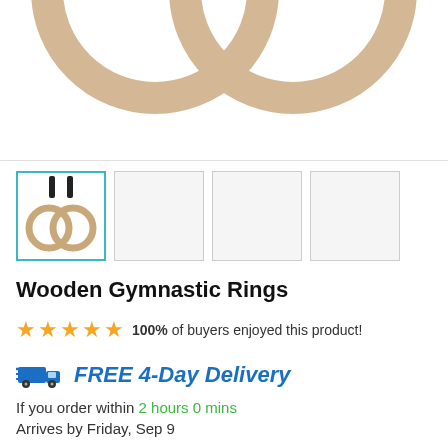[Figure (photo): Close-up top portion of two wooden gymnastic rings with black straps, cropped at the top of the page]
[Figure (photo): Thumbnail row: first thumbnail selected (teal border) showing wooden gymnastic rings with black straps hanging; three empty/blank thumbnails beside it]
Wooden Gymnastic Rings
100% of buyers enjoyed this product!
FREE 4-Day Delivery
If you order within 2 hours 0 mins
Arrives by Friday, Sep 9